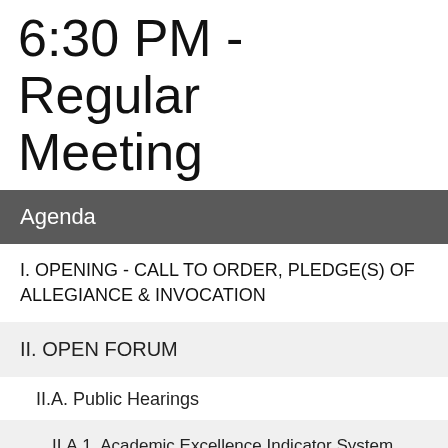6:30 PM - Regular Meeting
Agenda
I. OPENING - CALL TO ORDER, PLEDGE(S) OF ALLEGIANCE & INVOCATION
II. OPEN FORUM
II.A. Public Hearings
II.A.1. Academic Excellence Indicator System Report Hearing (as available)
II.A.2. 2010-11 Texas Education Agency No Child Left Behind Highly Qualified Report Hearing